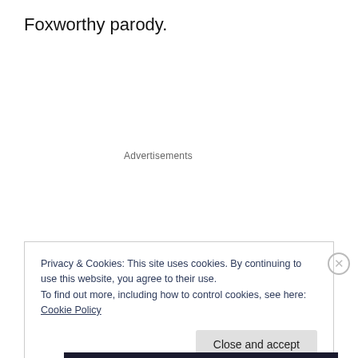Foxworthy parody.
Advertisements
Privacy & Cookies: This site uses cookies. By continuing to use this website, you agree to their use.
To find out more, including how to control cookies, see here: Cookie Policy
Close and accept